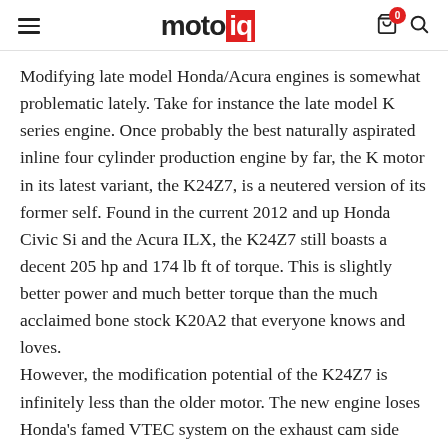motoiq
Modifying late model Honda/Acura engines is somewhat problematic lately.  Take for instance the late model K series engine.  Once probably the best naturally aspirated inline four cylinder production engine by far, the K motor in its latest variant, the K24Z7, is a neutered version of its former self.  Found in the current 2012 and up Honda Civic Si and the Acura ILX, the K24Z7 still boasts a decent 205 hp and 174 lb ft of torque. This is slightly better power and much better torque than the much acclaimed bone stock K20A2 that everyone knows and loves.
However, the modification potential of the K24Z7 is infinitely less than the older motor.  The new engine loses Honda's famed VTEC system on the exhaust cam side and even worse, has a very inefficient log type exhaust manifold cast as part of the cylinder head.  These production changes were probably done to reduce the cost of the engine and